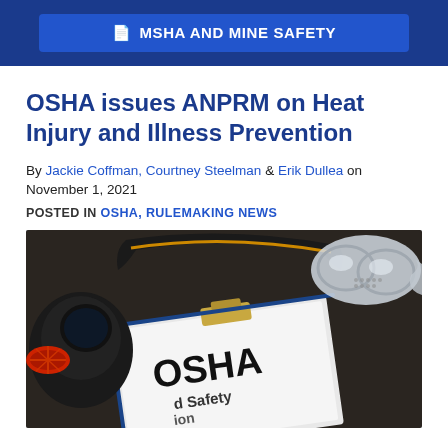MSHA AND MINE SAFETY
OSHA issues ANPRM on Heat Injury and Illness Prevention
By Jackie Coffman, Courtney Steelman & Erik Dullea on November 1, 2021
POSTED IN OSHA, RULEMAKING NEWS
[Figure (photo): Photo of OSHA safety document on clipboard surrounded by safety equipment including respirator mask, safety goggles, and hearing protection on a dark surface]